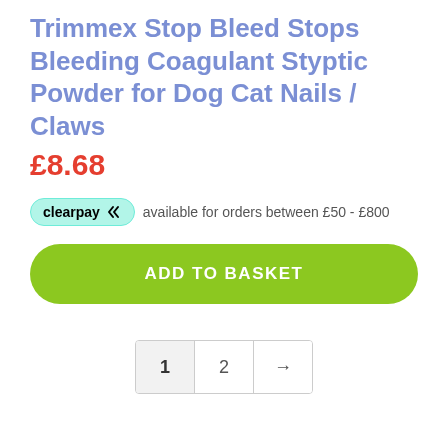Trimmex Stop Bleed Stops Bleeding Coagulant Styptic Powder for Dog Cat Nails / Claws
£8.68
clearpay available for orders between £50 - £800
ADD TO BASKET
1 2 →